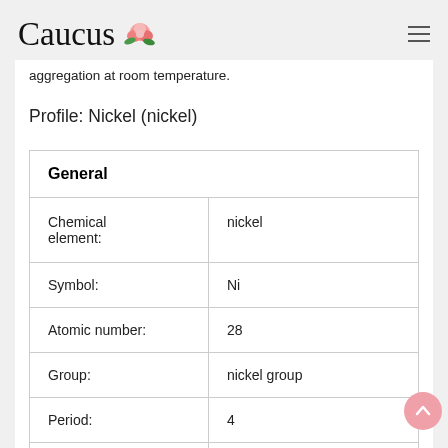Caucus
aggregation at room temperature.
Profile: Nickel (nickel)
| General |  |
| --- | --- |
| Chemical element: | nickel |
| Symbol: | Ni |
| Atomic number: | 28 |
| Group: | nickel group |
| Period: | 4 |
| Block: | d-block |
| Series: | Transition |